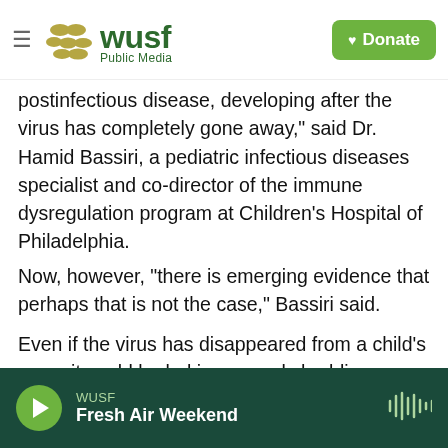WUSF Public Media — Donate button
postinfectious disease, developing after the virus has completely gone away," said Dr. Hamid Bassiri, a pediatric infectious diseases specialist and co-director of the immune dysregulation program at Children's Hospital of Philadelphia.
Now, however, "there is emerging evidence that perhaps that is not the case," Bassiri said.
Even if the virus has disappeared from a child's nose, it could be lurking — and shedding — elsewhere in the body, Chou said. That might explain why symptoms occur so long after a child's initial infection
WUSF — Fresh Air Weekend